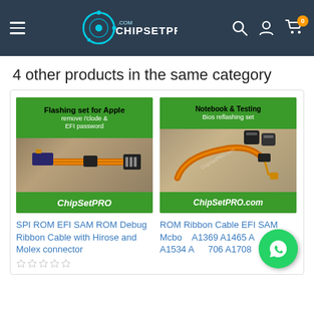[Figure (screenshot): ChipSetPRO.com website header with hamburger menu, logo, search, account, and cart icons on dark background]
4 other products in the same category
[Figure (photo): Product image: Flashing set for Apple - remove icloud & EFI password with ribbon cable, labeled ChipSetPRO]
SPI ROM EFI SAM ROM Debug Ribbon Cable with Hirose and Molex connector
[Figure (photo): Product image: Notebook & Testing Bios reflashing set with ribbon cable and clips, labeled ChipSetPRO.com]
ROM Ribbon Cable EFI SAM Mcbook A1369 A1465 A1370 A1534 A1706 A1708